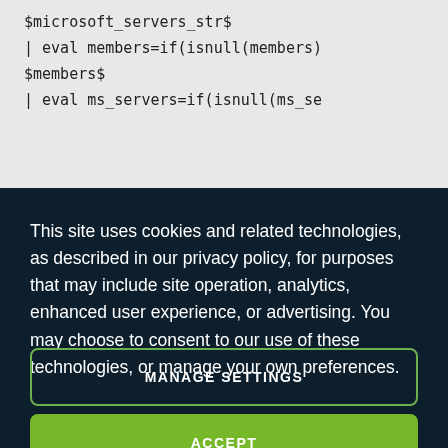$microsoft_servers_str$
| eval members=if(isnull(members)
$members$
| eval ms_servers=if(isnull(ms_se
This site uses cookies and related technologies, as described in our privacy policy, for purposes that may include site operation, analytics, enhanced user experience, or advertising. You may choose to consent to our use of these technologies, or manage your own preferences.
MANAGE SETTINGS
ACCEPT
DECLINE ALL